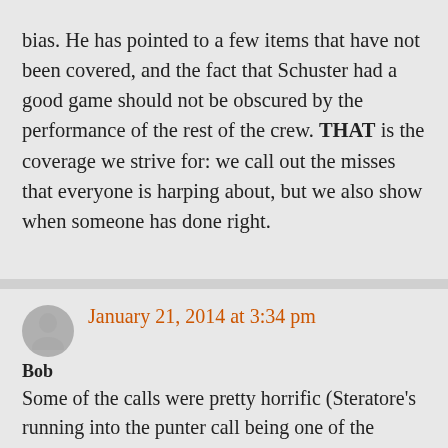bias. He has pointed to a few items that have not been covered, and the fact that Schuster had a good game should not be obscured by the performance of the rest of the crew. THAT is the coverage we strive for: we call out the misses that everyone is harping about, but we also show when someone has done right.
January 21, 2014 at 3:34 pm
Bob
Some of the calls were pretty horrific (Steratore's running into the punter call being one of the worst) but just because some of the officials made some bad decisions doesn't mean Schu didn't have an excellent game. He did.